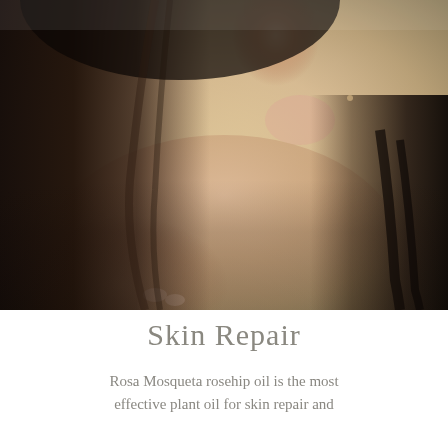[Figure (photo): A young woman with long dark hair looks over her bare shoulder, embracing herself. Her skin is luminous against a soft yellow background. The photo is a beauty/skincare product image.]
Skin Repair
Rosa Mosqueta rosehip oil is the most effective plant oil for skin repair and